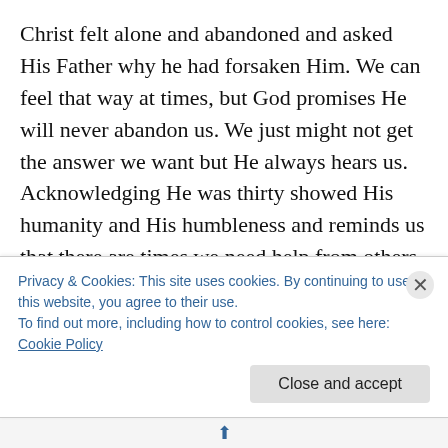Christ felt alone and abandoned and asked His Father why he had forsaken Him. We can feel that way at times, but God promises He will never abandon us. We just might not get the answer we want but He always hears us. Acknowledging He was thirty showed His humanity and His humbleness and reminds us that there are times we need help from others. After all we are to bear each others' burdens.
When Christ committed His spirit in God's hands, it was an act of trust. He surrendered control to God and God's will. Something we need to strive harder to achieve. If you're
Privacy & Cookies: This site uses cookies. By continuing to use this website, you agree to their use.
To find out more, including how to control cookies, see here: Cookie Policy
Close and accept